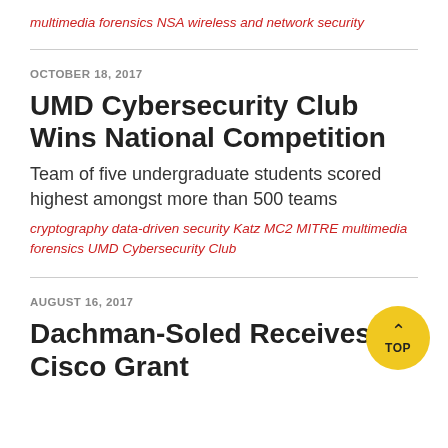multimedia forensics NSA wireless and network security
OCTOBER 18, 2017
UMD Cybersecurity Club Wins National Competition
Team of five undergraduate students scored highest amongst more than 500 teams
cryptography data-driven security Katz MC2 MITRE multimedia forensics UMD Cybersecurity Club
AUGUST 16, 2017
Dachman-Soled Receives Cisco Grant